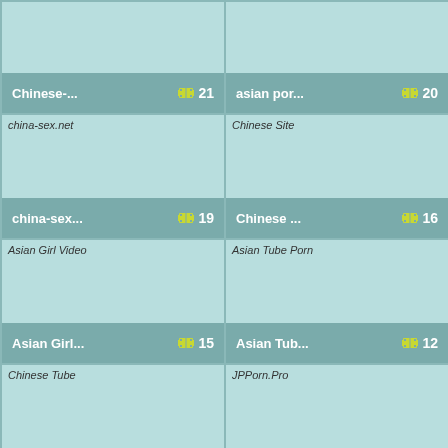[Figure (screenshot): Card thumbnail for Chinese-... site, truncated image area]
Chinese-... 21
[Figure (screenshot): Card thumbnail for asian por... site]
asian por... 20
[Figure (screenshot): Card thumbnail for china-sex.net site]
china-sex... 19
[Figure (screenshot): Card thumbnail for Chinese Site]
Chinese ... 16
[Figure (screenshot): Card thumbnail for Asian Girl Video site]
Asian Girl... 15
[Figure (screenshot): Card thumbnail for Asian Tube Porn site]
Asian Tub... 12
[Figure (screenshot): Card thumbnail for Chinese Tube site]
[Figure (screenshot): Card thumbnail for JPPorn.Pro site]